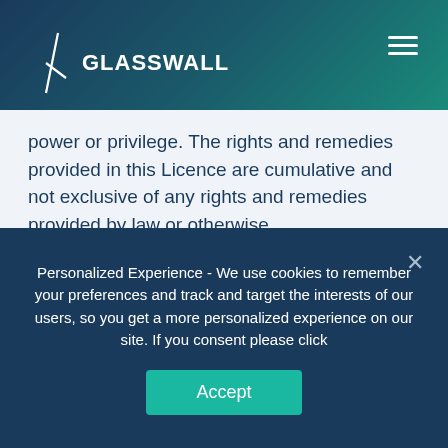GLASSWALL
power or privilege. The rights and remedies provided in this Licence are cumulative and not exclusive of any rights and remedies provided by law or otherwise.
16.6  Severance: If any provision or part-provision of this Licence is or becomes invalid, illegal or unenforceable, it shall be deemed
Personalized Experience - We use cookies to remember your preferences and track and target the interests of our users, so you get a more personalized experience on our site. If you consent please click
Accept